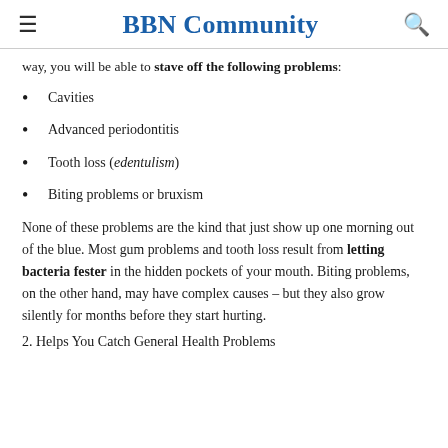BBN Community
way, you will be able to stave off the following problems:
Cavities
Advanced periodontitis
Tooth loss (edentulism)
Biting problems or bruxism
None of these problems are the kind that just show up one morning out of the blue. Most gum problems and tooth loss result from letting bacteria fester in the hidden pockets of your mouth. Biting problems, on the other hand, may have complex causes – but they also grow silently for months before they start hurting.
2. Helps You Catch General Health Problems